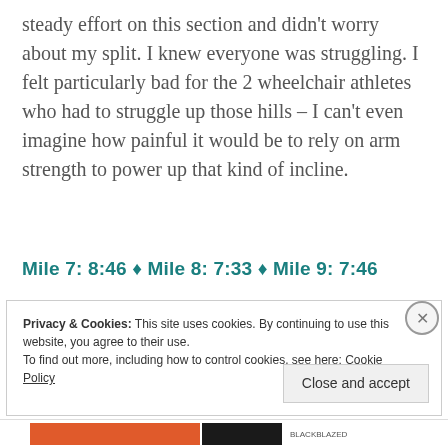steady effort on this section and didn't worry about my split. I knew everyone was struggling. I felt particularly bad for the 2 wheelchair athletes who had to struggle up those hills – I can't even imagine how painful it would be to rely on arm strength to power up that kind of incline.
Mile 7: 8:46 ♦ Mile 8: 7:33 ♦ Mile 9: 7:46
Privacy & Cookies: This site uses cookies. By continuing to use this website, you agree to their use. To find out more, including how to control cookies, see here: Cookie Policy